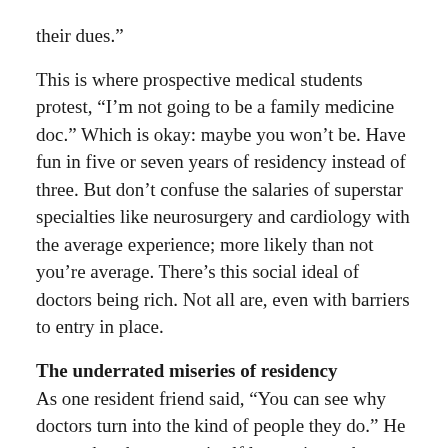their dues.”
This is where prospective medical students protest, “I’m not going to be a family medicine doc.” Which is okay: maybe you won’t be. Have fun in five or seven years of residency instead of three. But don’t confuse the salaries of superstar specialties like neurosurgery and cardiology with the average experience; more likely than not you’re average. There’s this social ideal of doctors being rich. Not all are, even with barriers to entry in place.
The underrated miseries of residency
As one resident friend said, “You can see why doctors turn into the kind of people they do.” He meant that the system itself lets patients abuse doctors, doctors abuse residents, and for people to generally treat each other not like people, but like cogs. At least nurses who discover